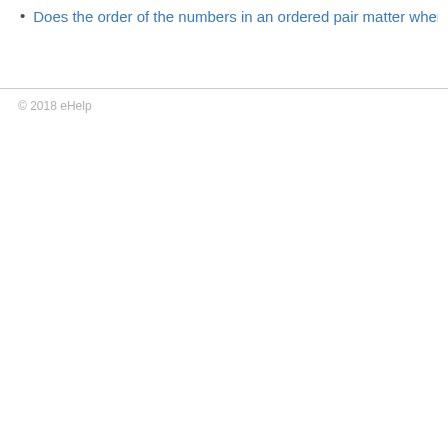Does the order of the numbers in an ordered pair matter when naming a point?
© 2018 eHelp